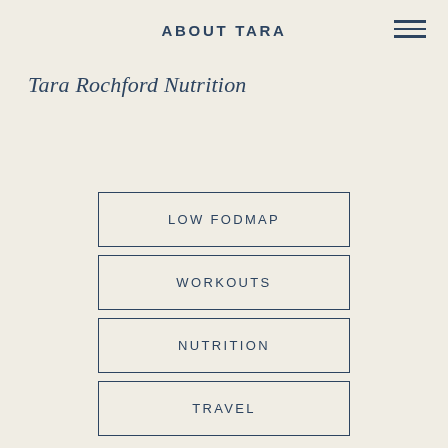ABOUT TARA
Tara Rochford Nutrition
LOW FODMAP
WORKOUTS
NUTRITION
TRAVEL